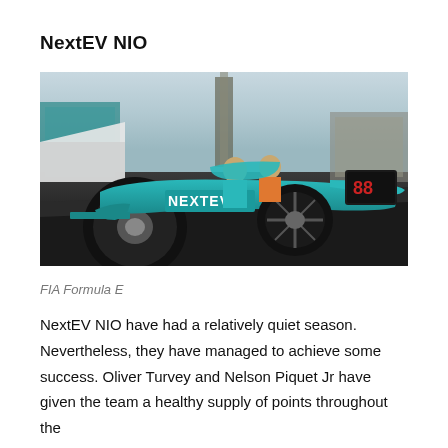NextEV NIO
[Figure (photo): Low-angle shot of a teal NextEV NIO Formula E race car (number 88) on a pit lane or track surface, with two people in teal/orange team gear visible behind the car, and pit lane structures in the background.]
FIA Formula E
NextEV NIO have had a relatively quiet season. Nevertheless, they have managed to achieve some success. Oliver Turvey and Nelson Piquet Jr have given the team a healthy supply of points throughout the